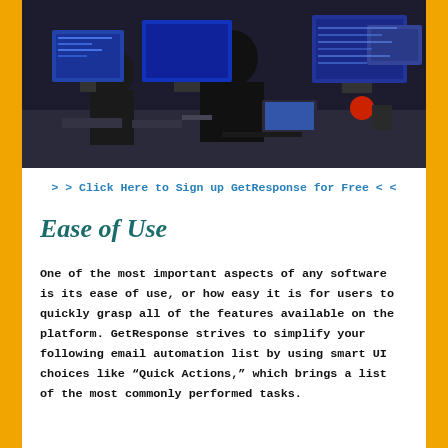[Figure (photo): Office scene showing people working at computers with multiple monitors on desks in a dark-lit workspace.]
> > Click Here to Sign up GetResponse for Free < <
Ease of Use
One of the most important aspects of any software is its ease of use, or how easy it is for users to quickly grasp all of the features available on the platform. GetResponse strives to simplify your following email automation list by using smart UI choices like “Quick Actions,” which brings a list of the most commonly performed tasks.